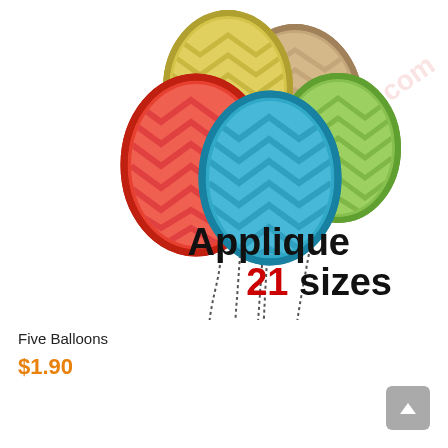[Figure (illustration): Five balloons applique embroidery design with chevron pattern fill in red, yellow, tan/brown, teal/blue, and green colors. Balloons have dashed strings. Text overlay reads 'Applique 21 sizes' with '21' in red. Watermark reads 'Alldayembroidery.com'.]
Five Balloons
$1.90
ADD TO CART